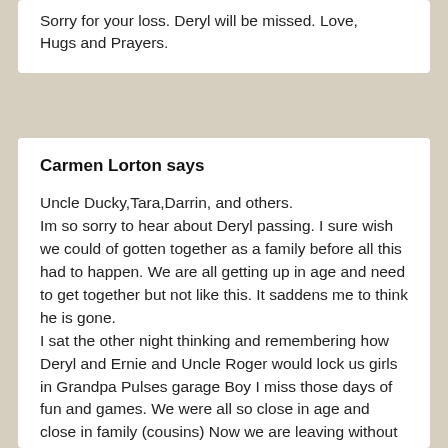Sorry for your loss. Deryl will be missed. Love, Hugs and Prayers.
Carmen Lorton says
Uncle Ducky,Tara,Darrin, and others. Im so sorry to hear about Deryl passing. I sure wish we could of gotten together as a family before all this had to happen. We are all getting up in age and need to get together but not like this. It saddens me to think he is gone. I sat the other night thinking and remembering how Deryl and Ernie and Uncle Roger would lock us girls in Grandpa Pulses garage Boy I miss those days of fun and games. We were all so close in age and close in family (cousins) Now we are leaving without seeing each other in such a long time. Its